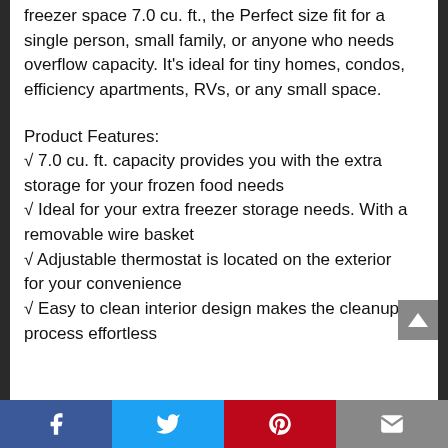freezer space 7.0 cu. ft., the Perfect size fit for a single person, small family, or anyone who needs overflow capacity. It's ideal for tiny homes, condos, efficiency apartments, RVs, or any small space.
Product Features:
√ 7.0 cu. ft. capacity provides you with the extra storage for your frozen food needs
√ Ideal for your extra freezer storage needs. With a removable wire basket
√ Adjustable thermostat is located on the exterior for your convenience
√ Easy to clean interior design makes the cleanup process effortless
Facebook Twitter Pinterest Email